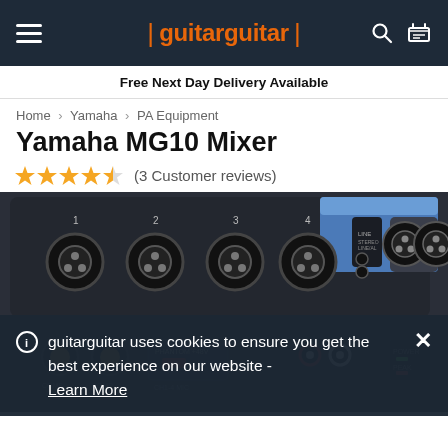guitarguitar
Free Next Day Delivery Available
Home > Yamaha > PA Equipment
Yamaha MG10 Mixer
(3 Customer reviews)
[Figure (photo): Yamaha MG10 Mixer product photo showing the top panel with XLR inputs, LINE inputs, knobs, and PHANTOM +48V button, with blue channel strip sections visible]
guitarguitar uses cookies to ensure you get the best experience on our website - Learn More